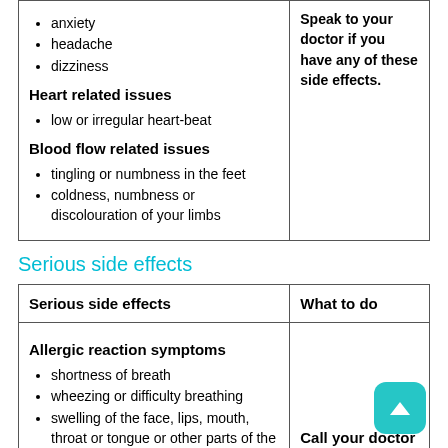| Common side effects | What to do |
| --- | --- |
| anxiety
headache
dizziness

Heart related issues

low or irregular heart-beat

Blood flow related issues

tingling or numbness in the feet
coldness, numbness or discolouration of your limbs | Speak to your doctor if you have any of these side effects. |
Serious side effects
| Serious side effects | What to do |
| --- | --- |
| Allergic reaction symptoms

shortness of breath
wheezing or difficulty breathing
swelling of the face, lips, mouth, throat or tongue or other parts of the body | Call your doctor straight away, or... |